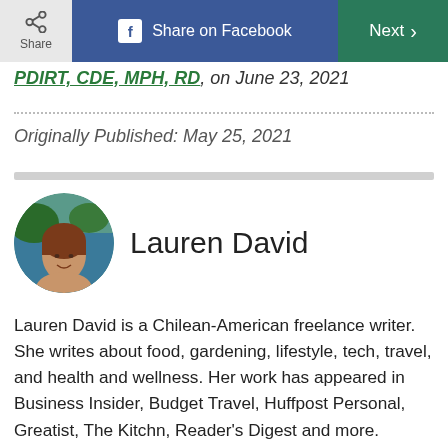Share on Facebook | Next
PDIRT, CDE, MPH, RD, on June 23, 2021
Originally Published: May 25, 2021
Lauren David
[Figure (photo): Circular avatar photo of Lauren David]
Lauren David is a Chilean-American freelance writer. She writes about food, gardening, lifestyle, tech, travel, and health and wellness. Her work has appeared in Business Insider, Budget Travel, Huffpost Personal, Greatist, The Kitchn, Reader's Digest and more. Teaching for over a decade, she's skilled at making complex ideas understandable. She has over thirteen years of experience gardening and enjoys